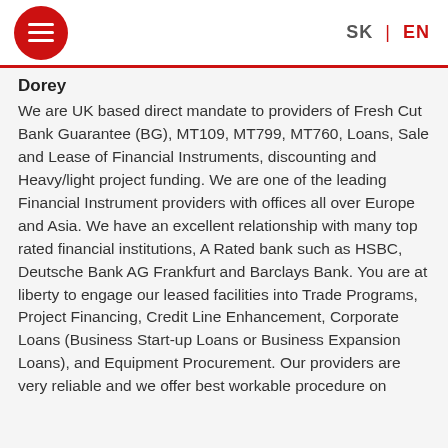SK | EN
Dorey
We are UK based direct mandate to providers of Fresh Cut Bank Guarantee (BG), MT109, MT799, MT760, Loans, Sale and Lease of Financial Instruments, discounting and Heavy/light project funding. We are one of the leading Financial Instrument providers with offices all over Europe and Asia. We have an excellent relationship with many top rated financial institutions, A Rated bank such as HSBC, Deutsche Bank AG Frankfurt and Barclays Bank. You are at liberty to engage our leased facilities into Trade Programs, Project Financing, Credit Line Enhancement, Corporate Loans (Business Start-up Loans or Business Expansion Loans), and Equipment Procurement. Our providers are very reliable and we offer best workable procedure on